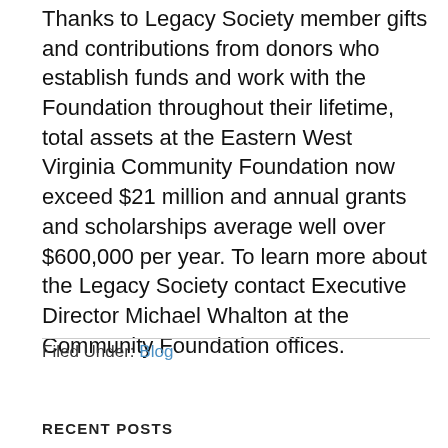Thanks to Legacy Society member gifts and contributions from donors who establish funds and work with the Foundation throughout their lifetime, total assets at the Eastern West Virginia Community Foundation now exceed $21 million and annual grants and scholarships average well over $600,000 per year. To learn more about the Legacy Society contact Executive Director Michael Whalton at the Community Foundation offices.
Filed Under: Blog
RECENT POSTS